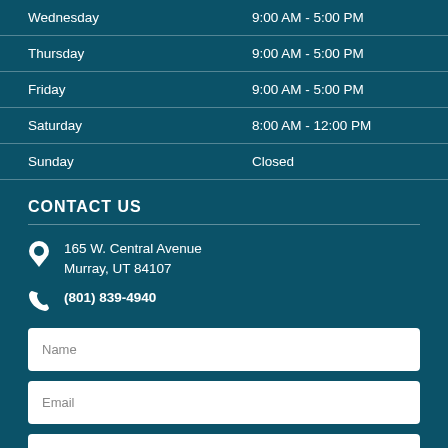| Day | Hours |
| --- | --- |
| Wednesday | 9:00 AM - 5:00 PM |
| Thursday | 9:00 AM - 5:00 PM |
| Friday | 9:00 AM - 5:00 PM |
| Saturday | 8:00 AM - 12:00 PM |
| Sunday | Closed |
CONTACT US
165 W. Central Avenue
Murray, UT 84107
(801) 839-4940
Name
Email
Phone